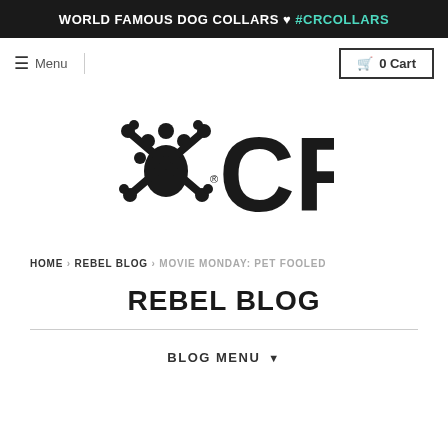WORLD FAMOUS DOG COLLARS ♥ #CRCOLLARS
☰ Menu
🛒 0 Cart
[Figure (logo): CR (Canine Rebel) logo with paw print and crossed bones, registered trademark symbol]
HOME › REBEL BLOG › MOVIE MONDAY: PET FOOLED
REBEL BLOG
BLOG MENU ▼